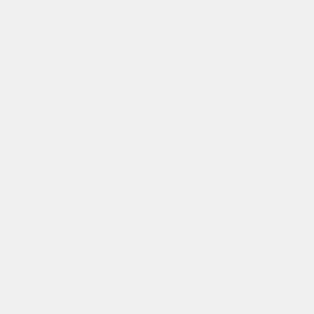annual written report of Benefit Assessments/Service Charges for the Zones of Benefit within County Service Area 9 for providing certain services including road improvement and maintenance, drainage facility improvement and maintenance, landscape maintenance, street lighting, and/or wetland-related services; and 2) Adopt and authorize the Chair to sign Resolution 106-2018 confirming the Annual Written Report and authorizing the benefit/service charges to be collected in the same